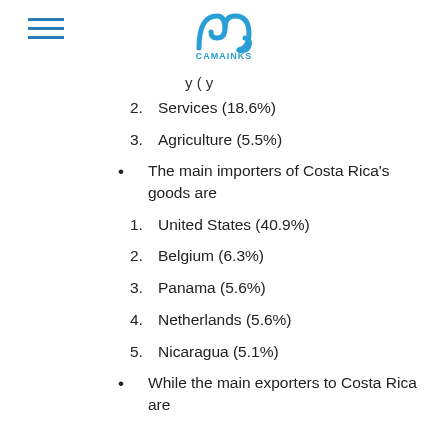CAMAINKS (logo)
2. Services (18.6%)
3. Agriculture (5.5%)
• The main importers of Costa Rica's goods are
1. United States (40.9%)
2. Belgium (6.3%)
3. Panama (5.6%)
4. Netherlands (5.6%)
5. Nicaragua (5.1%)
• While the main exporters to Costa Rica are